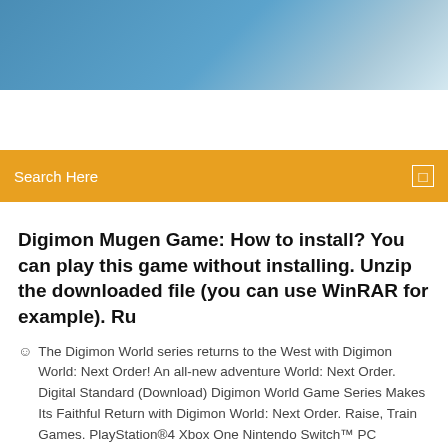[Figure (photo): Blue sky/gradient header image banner area]
Search Here
Digimon Mugen Game: How to install? You can play this game without installing. Unzip the downloaded file (you can use WinRAR for example). Ru
The Digimon World series returns to the West with Digimon World: Next Order! An all-new adventure World: Next Order. Digital Standard (Download) Digimon World Game Series Makes Its Faithful Return with Digimon World: Next Order. Raise, Train Games. PlayStation®4 Xbox One Nintendo Switch™ PC Mobile.   |
1 Comments